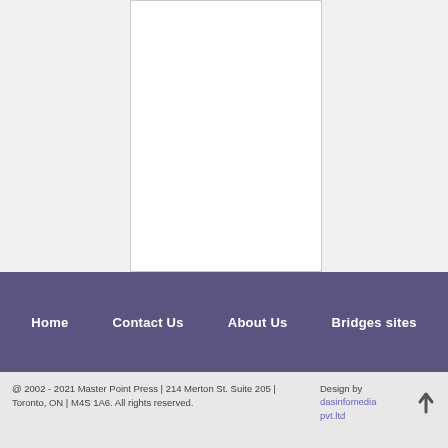[Figure (other): White rectangular box with border on light gray background]
Home | Contact Us | About Us | Bridges sites
@ 2002 - 2021 Master Point Press | 214 Merton St. Suite 205 | Toronto, ON | M4S 1A6. All rights reserved. Design by dasinfomedia pvt.ltd